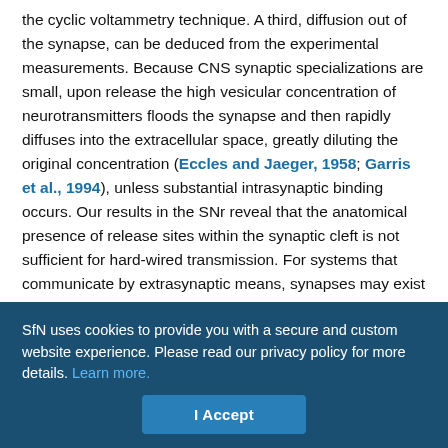the cyclic voltammetry technique. A third, diffusion out of the synapse, can be deduced from the experimental measurements. Because CNS synaptic specializations are small, upon release the high vesicular concentration of neurotransmitters floods the synapse and then rapidly diffuses into the extracellular space, greatly diluting the original concentration (Eccles and Jaeger, 1958; Garris et al., 1994), unless substantial intrasynaptic binding occurs. Our results in the SNr reveal that the anatomical presence of release sites within the synaptic cleft is not sufficient for hard-wired transmission. For systems that communicate by extrasynaptic means, synapses may exist simply as points of anatomical connectivity. The more important parameter that predicts whether transmission is synaptic or otherwise appears to be the affinity of the receptors and transporters.
SfN uses cookies to provide you with a secure and custom website experience. Please read our privacy policy for more details. Learn more.